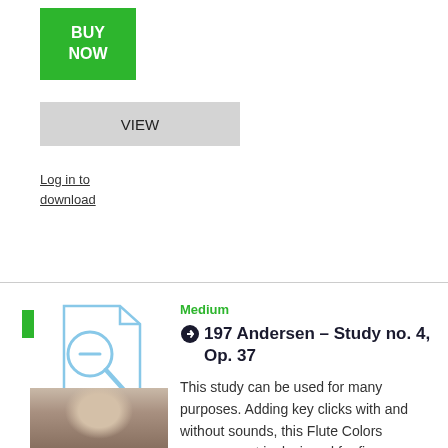[Figure (other): Green BUY NOW button]
[Figure (other): Gray VIEW button]
Log in to download
[Figure (illustration): Preview icon with magnifying glass over document, labeled 'preview']
[Figure (photo): Black and white portrait photograph of a man with glasses and mustache]
Medium
197 Andersen – Study no. 4, Op. 37
This study can be used for many purposes. Adding key clicks with and without sounds, this Flute Colors arrangement is designed for finger coordination in